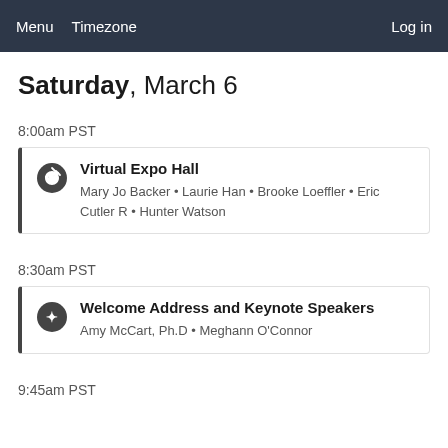Menu  Timezone  Log in
Saturday, March 6
8:00am PST
Virtual Expo Hall
Mary Jo Backer • Laurie Han • Brooke Loeffler • Eric Cutler R • Hunter Watson
8:30am PST
Welcome Address and Keynote Speakers
Amy McCart, Ph.D • Meghann O'Connor
9:45am PST